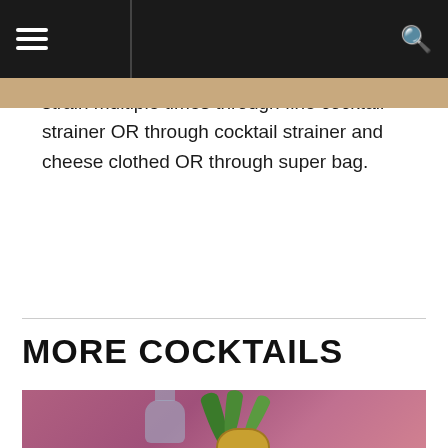strain multiple times through fine cocktail strainer OR through cocktail strainer and cheese clothed OR through super bag.
MORE COCKTAILS
[Figure (photo): A cocktail scene showing a bottle with a cork stopper and tropical pineapple garnish with green leaves against a pink/mauve background.]